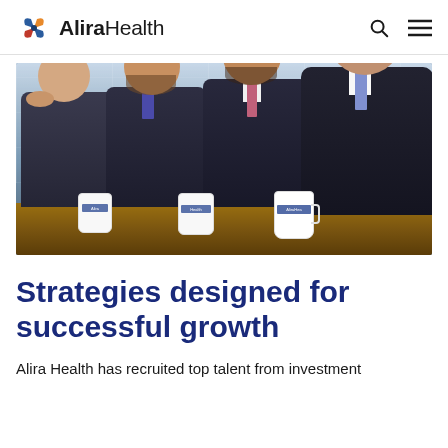AliraHealth
[Figure (photo): Four men in dark suits sitting at a wooden table with AliraHealth branded mugs, in a professional office setting with glass walls in the background.]
Strategies designed for successful growth
Alira Health has recruited top talent from investment